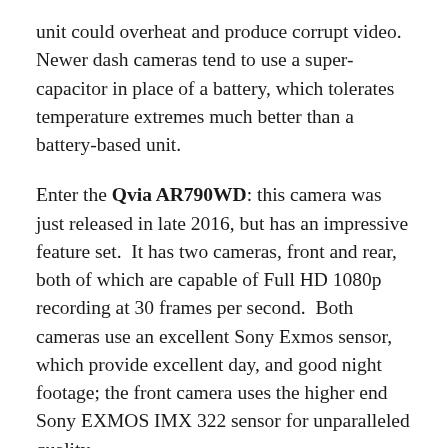unit could overheat and produce corrupt video.  Newer dash cameras tend to use a super-capacitor in place of a battery, which tolerates temperature extremes much better than a battery-based unit.
Enter the Qvia AR790WD: this camera was just released in late 2016, but has an impressive feature set.  It has two cameras, front and rear, both of which are capable of Full HD 1080p recording at 30 frames per second.  Both cameras use an excellent Sony Exmos sensor, which provide excellent day, and good night footage; the front camera uses the higher end Sony EXMOS IMX 322 sensor for unparalleled quality.
The AR790WD also provides Wifi, GPS, and ADAS (Advanced Driver Assistance System), and includes a full-featured parking mode with built-in battery protection.  Like many dashcams, the AR790WD, also has g-shock sensors to detect if your car has been hit or in an accident – in these